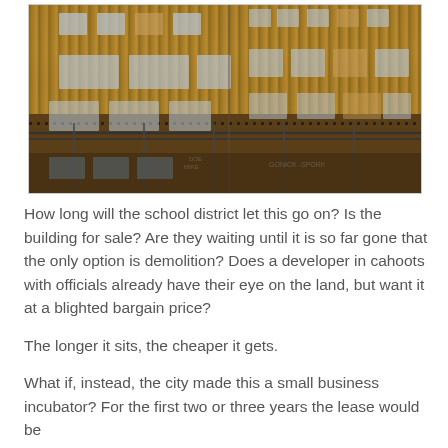[Figure (photo): Photograph of an abandoned multi-story brick school building, showing deterioration, graffiti on the lower facade, and a chain-link fence in the foreground. The building has multiple windows and appears neglected.]
How long will the school district let this go on? Is the building for sale? Are they waiting until it is so far gone that the only option is demolition? Does a developer in cahoots with officials already have their eye on the land, but want it at a blighted bargain price?
The longer it sits, the cheaper it gets.
What if, instead, the city made this a small business incubator? For the first two or three years the lease would be